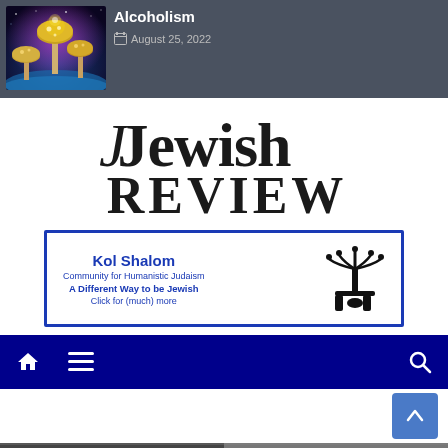[Figure (photo): Colorful glowing psychedelic mushrooms with purple and blue lighting]
Alcoholism
August 25, 2022
[Figure (logo): Jewish Review logo in serif typeface]
[Figure (other): Kol Shalom advertisement banner — Community for Humanistic Judaism, A Different Way to be Jewish, Click for (much) more, with menorah icon]
[Figure (screenshot): Dark blue navigation bar with home icon, hamburger menu, and search icon]
[Figure (screenshot): Scroll-to-top button (blue square with up arrow) on white background]
[Figure (photo): Bottom strip showing partial images]